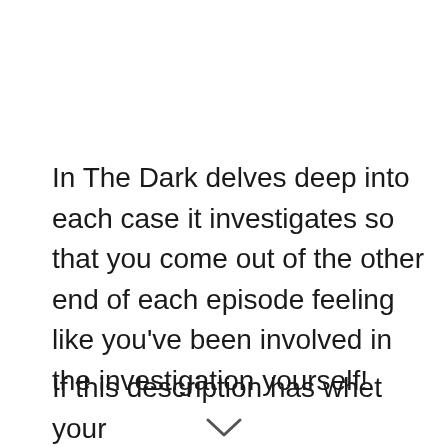In The Dark delves deep into each case it investigates so that you come out of the other end of each episode feeling like you've been involved in the investigation yourself!
If this description has whet your